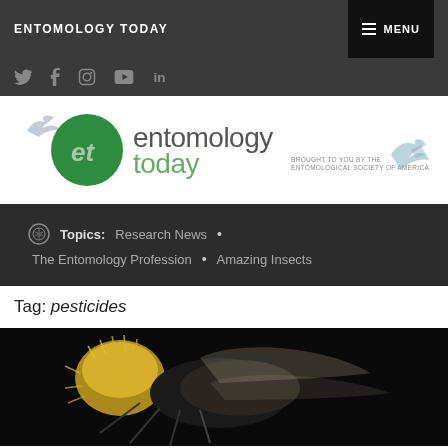ENTOMOLOGY TODAY
[Figure (logo): Entomology Today logo with green circle containing stylized 'et', text 'entomology today', tagline 'Brought to you by the Entomological Society of America', and insect silhouette]
Topics: Research News • The Entomology Profession • Amazing Insects
Tag: pesticides
[Figure (photo): Close-up macro photograph of a bumblebee on black background, showing yellow and black fuzzy body, wings, and legs]